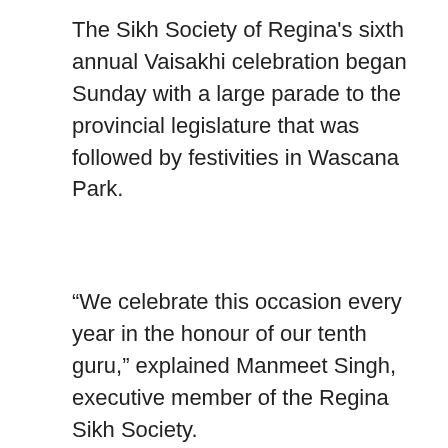The Sikh Society of Regina's sixth annual Vaisakhi celebration began Sunday with a large parade to the provincial legislature that was followed by festivities in Wascana Park.
“We celebrate this occasion every year in the honour of our tenth guru,” explained Manmeet Singh, executive member of the Regina Sikh Society.
ADVERTISEMENT
[Figure (screenshot): Advertisement for The Source electronics retailer showing two smartphones on a red background with text 'Check out our amazing' and The Source logo]